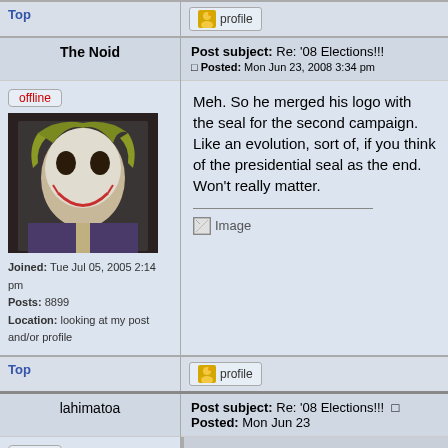Top
[Figure (screenshot): Profile button with user icon]
The Noid
Post subject: Re: '08 Elections!!! Posted: Mon Jun 23, 2008 3:34 pm
[Figure (photo): The Joker avatar image]
offline
Joined: Tue Jul 05, 2005 2:14 pm
Posts: 8899
Location: looking at my post and/or profile
Meh. So he merged his logo with the seal for the second campaign. Like an evolution, sort of, if you think of the presidential seal as the end. Won't really matter.
[Figure (other): Broken image placeholder]
Top
[Figure (screenshot): Profile button]
lahimatoa
Post subject: Re: '08 Elections!!! Posted: Mon Jun 23
offline
[Figure (illustration): Sun cartoon avatar]
The Noid wrote:
Meh. So he merged his logo with the seal for the second campaign. Like an evolution, sort of, if you think of the presidential seal as the end...